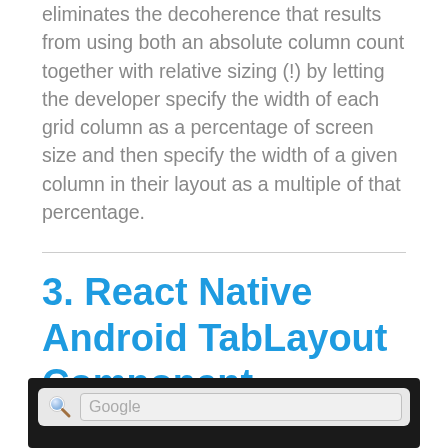eliminates the decoherence that results from using both an absolute column count together with relative sizing (!) by letting the developer specify the width of each grid column as a percentage of screen size and then specify the width of a given column in their layout as a multiple of that percentage.
3. React Native Android TabLayout Component
[Figure (screenshot): Screenshot of a React Native Android UI showing a search bar with a magnifying glass icon and Google placeholder text on a dark background.]